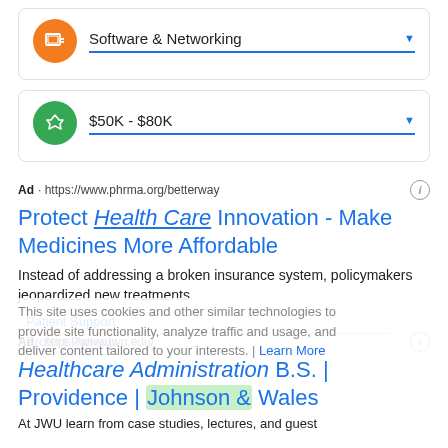[Figure (screenshot): UI card row with orange circle icon and 'Software & Networking' dropdown with blue underline and blue arrow]
[Figure (screenshot): UI card row with green circle icon and '$50K - $80K' dropdown with blue underline and blue arrow]
Ad · https://www.phrma.org/betterway
Protect Health Care Innovation - Make Medicines More Affordable
Instead of addressing a broken insurance system, policymakers jeopardized new treatments.
Patient Support
Protect Patients
This site uses cookies and other similar technologies to provide site functionality, analyze traffic and usage, and deliver content tailored to your interests. | Learn More
Ad · https://www.jwu.edu/
Healthcare Administration B.S. | Providence | Johnson & Wales
At JWU learn from case studies, lectures, and guest